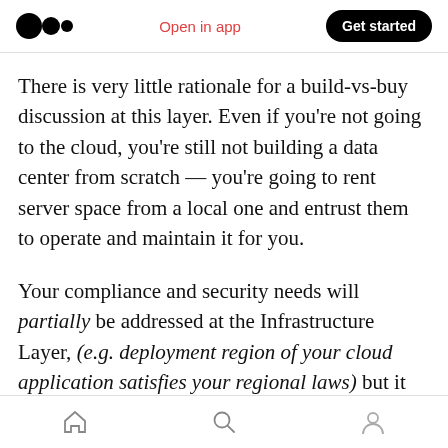Open in app | Get started
There is very little rationale for a build-vs-buy discussion at this layer. Even if you're not going to the cloud, you're still not building a data center from scratch — you're going to rent server space from a local one and entrust them to operate and maintain it for you.
Your compliance and security needs will partially be addressed at the Infrastructure Layer, (e.g. deployment region of your cloud application satisfies your regional laws) but it will also surface at every subsequent layer, and you are legally
Home | Search | Profile